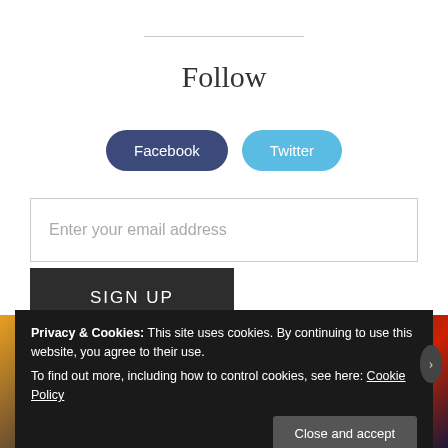Follow
Facebook
Twitter
Enter your email address
SIGN UP
[Figure (illustration): Colorful anime/comic strip image partly visible behind cookie banner]
Privacy & Cookies: This site uses cookies. By continuing to use this website, you agree to their use.
To find out more, including how to control cookies, see here: Cookie Policy
Close and accept